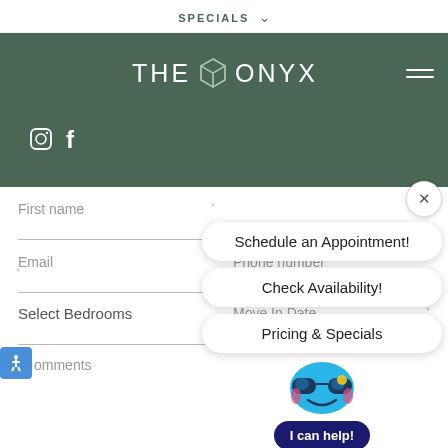SPECIALS
[Figure (logo): THE ONYX logo with geometric cube icon, white text on dark green header bar]
[Figure (illustration): Instagram and Facebook social media icons in white on dark green background]
First name
Email
Phone number
Select Bedrooms
Move In Date
Comments
[Figure (screenshot): Chat widget popup with buttons: Schedule an Appointment!, Check Availability!, Pricing & Specials, and a cartoon robot face with 'I can help!' button]